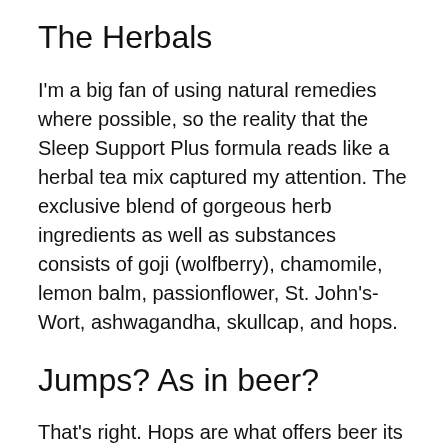The Herbals
I'm a big fan of using natural remedies where possible, so the reality that the Sleep Support Plus formula reads like a herbal tea mix captured my attention. The exclusive blend of gorgeous herb ingredients as well as substances consists of goji (wolfberry), chamomile, lemon balm, passionflower, St. John's- Wort, ashwagandha, skullcap, and hops.
Jumps? As in beer?
That's right. Hops are what offers beer its trademark aromatic as well as hoppy